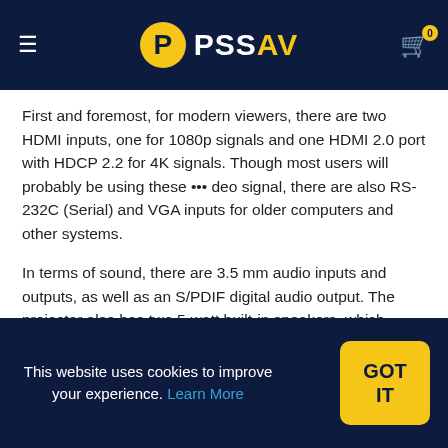PSSAV
First and foremost, for modern viewers, there are two HDMI inputs, one for 1080p signals and one HDMI 2.0 port with HDCP 2.2 for 4K signals. Though most users will probably be using these ... deo signal, there are also RS-232C (Serial) and VGA inputs for older computers and other systems.
In terms of sound, there are 3.5 mm audio inputs and outputs, as well as an S/PDIF digital audio output. The projector also has two 5-watt built-in speakers, which provide decent enough sound for basic presentations, but we wouldn't recommend relying on them for any kind of real video enjoyment. We'll be honest, though: Most people who are considering a projector should also be thinking about getting some speakers and a home theater receiver, should
This website uses cookies to improve your experience. Learn More GOT IT